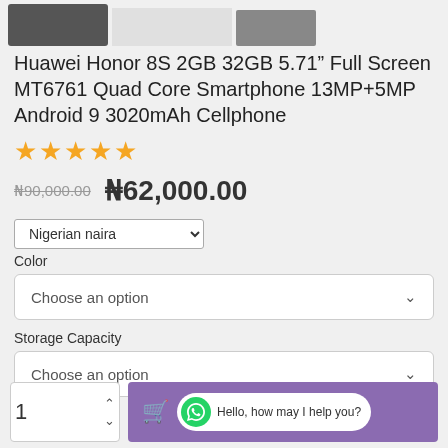[Figure (photo): Three product thumbnail images at top of page — phone images cropped]
Huawei Honor 8S 2GB 32GB 5.71" Full Screen MT6761 Quad Core Smartphone 13MP+5MP Android 9 3020mAh Cellphone
[Figure (other): Five gold star rating icons]
₦90,000.00   ₦62,000.00
Nigerian naira (dropdown)
Color
Choose an option
Storage Capacity
Choose an option
1  (quantity) | cart button | Hello, how may I help you?